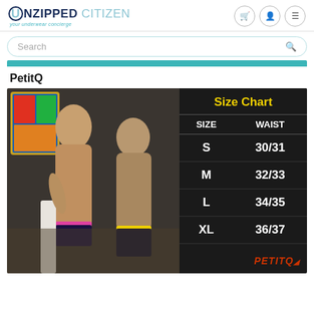UNZIPPED CITIZEN — your underwear concierge
Search
PetitQ
[Figure (photo): Product photo showing two male models wearing swimwear/underwear, with a size chart overlay. Size Chart: S=30/31, M=32/33, L=34/35, XL=36/37. PetitQ logo at bottom right of chart.]
| SIZE | WAIST |
| --- | --- |
| S | 30/31 |
| M | 32/33 |
| L | 34/35 |
| XL | 36/37 |